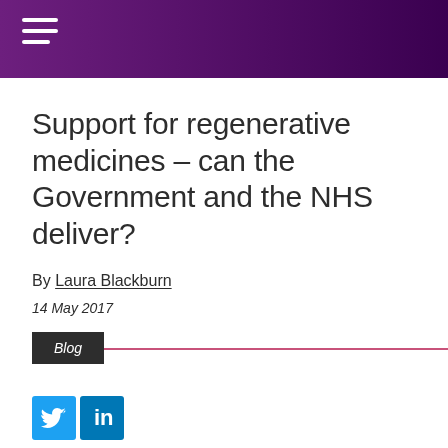Support for regenerative medicines – can the Government and the NHS deliver?
By Laura Blackburn
14 May 2017
Blog